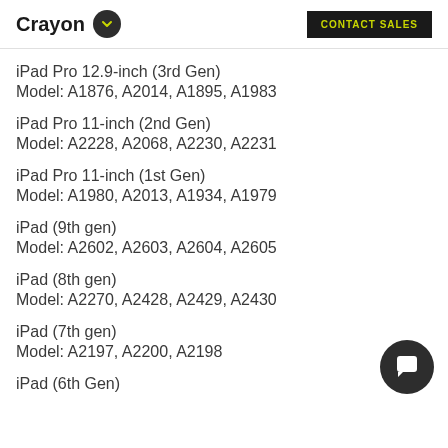Crayon   CONTACT SALES
iPad Pro 12.9-inch (3rd Gen)
Model: A1876, A2014, A1895, A1983
iPad Pro 11-inch (2nd Gen)
Model: A2228, A2068, A2230, A2231
iPad Pro 11-inch (1st Gen)
Model: A1980, A2013, A1934, A1979
iPad (9th gen)
Model: A2602, A2603, A2604, A2605
iPad (8th gen)
Model: A2270, A2428, A2429, A2430
iPad (7th gen)
Model: A2197, A2200, A2198
iPad (6th Gen)